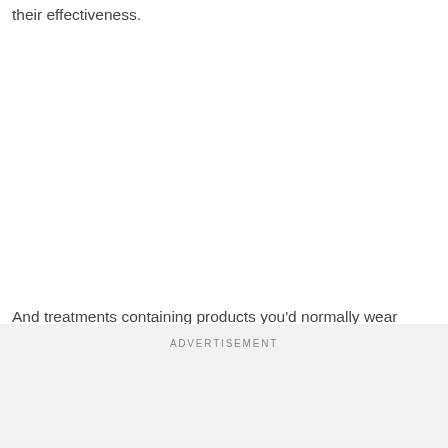their effectiveness.
And treatments containing products you'd normally wear
ADVERTISEMENT